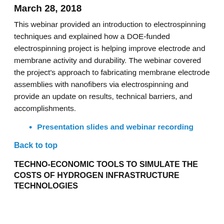March 28, 2018
This webinar provided an introduction to electrospinning techniques and explained how a DOE-funded electrospinning project is helping improve electrode and membrane activity and durability. The webinar covered the project's approach to fabricating membrane electrode assemblies with nanofibers via electrospinning and provide an update on results, technical barriers, and accomplishments.
Presentation slides and webinar recording
Back to top
TECHNO-ECONOMIC TOOLS TO SIMULATE THE COSTS OF HYDROGEN INFRASTRUCTURE TECHNOLOGIES